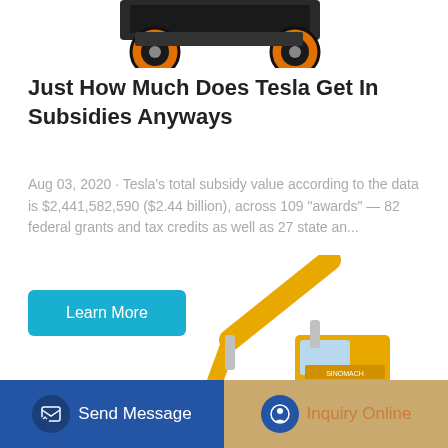[Figure (photo): Partial view of a large orange/black truck or heavy machinery, showing the lower body and wheels, cropped at top of page]
Just How Much Does Tesla Get In Subsidies Anyways
Aug 03, 2020 · Tesla's total subsidy value according to the data is $2,441,582,590 ($2.44 billion), across 109 "awards" — 82 federal grants and tax credits as well as 27 state an...
[Figure (photo): Yellow excavator/construction machine (branded SINOMACH) shown from the side with arm extended upward, positioned in lower half of page]
[Figure (other): Bottom navigation bar with two buttons: 'Send Message' (blue background, left side) and 'Inquiry Online' (tan/gold background, right side), each with circular icon]